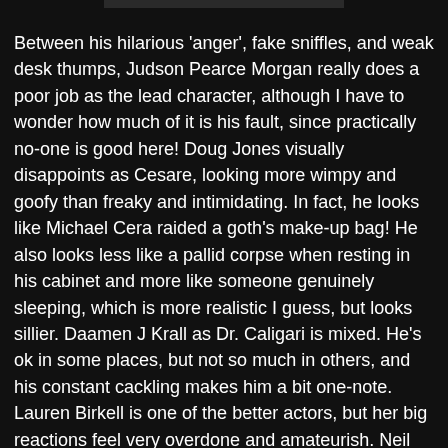[Figure (other): Partial image at top of page, appears to be a cropped photograph or still from a film, mostly obscured]
Between his hilarious 'anger', fake sniffles, and weak desk thumps, Judson Pearce Morgan really does a poor job as the lead character, although I have to wonder how much of it is his fault, since practically no-one is good here! Doug Jones visually disappoints as Cesare, looking more wimpy and goofy than freaky and intimidating. In fact, he looks like Michael Cera raided a goth's make-up bag! He also looks less like a pallid corpse when resting in his cabinet and more like someone genuinely sleeping, which is more realistic I guess, but looks sillier. Daamen J Krall as Dr. Caligari is mixed. He's ok in some places, but not so much in others, and his constant cackling makes him a bit one-note. Lauren Birkell is one of the better actors, but her big reactions feel very overdone and amateurish. Neil Hopkins as Alan is likewise better than most, even if not perfect. One last issue with everyone's performances is that they talk and act in a very modern fashion, feeling at odds with the old German expressionistic look to everything. I will however give props to the actors for almost pronouncing Cesare correctly (with Morgan hitting it dead-on). It's a little thing, sure, but